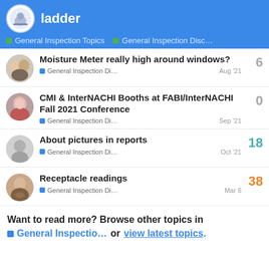ladder — General Inspection Topics • General Inspection Disc…
Moisture Meter really high around windows? — General Inspection Di… — Aug '21 — 6 replies
CMI & InterNACHI Booths at FABI/InterNACHI Fall 2021 Conference — General Inspection Di… — Sep '21 — 0 replies
About pictures in reports — General Inspection Di… — Oct '21 — 18 replies
Receptacle readings — General Inspection Di… — Mar 6 — 38 replies
Want to read more? Browse other topics in General Inspectio… or view latest topics.